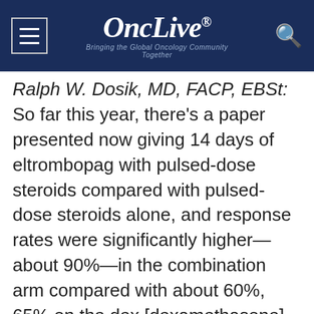OncLive® — Bringing the Global Oncology Community Together
Ralph W. Dosik, MD, FACP, EBSt: So far this year, there's a paper presented now giving 14 days of eltrombopag with pulsed-dose steroids compared with pulsed-dose steroids alone, and response rates were significantly higher—about 90%—in the combination arm compared with about 60%, 65% on the dex [dexamethasone] alone arm. And, at 6
This website stores data such as cookies to enable essential site functionality, as well as marketing, personalization, and analytics. Cookie Policy
Accept
Deny